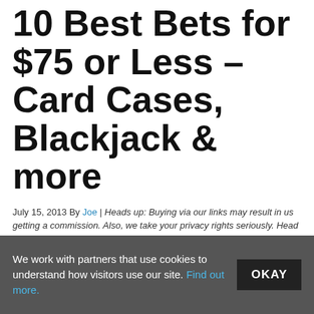10 Best Bets for $75 or Less – Card Cases, Blackjack & more
July 15, 2013 By Joe | Heads up: Buying via our links may result in us getting a commission. Also, we take your privacy rights seriously. Head here to learn more.
Seventy Five dollars. That's a lot of money. It'll get you a couple pairs of Levi's, a nice dinner out, or a couple months at your local gym. Seventy Five dollars. It is a lot of money, especially if you spend it right. Ten picks follow, all for $75 or under, and some of them are much, much less.
We work with partners that use cookies to understand how visitors use our site. Find out more.